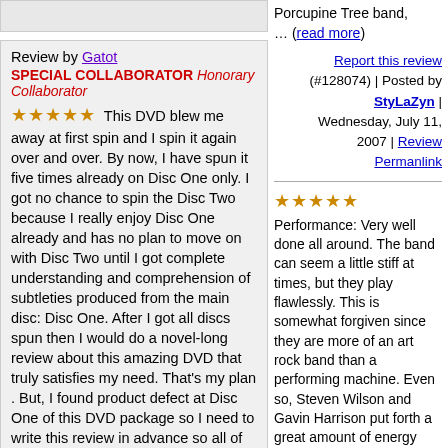Porcupine Tree band, ... (read more)
Report this review (#128074) | Posted by StyLaZyn | Wednesday, July 11, 2007 | Review Permanlink
Review by Gatot SPECIAL COLLABORATOR Honorary Collaborator
★★★★★  This DVD blew me away at first spin and I spin it again over and over. By now, I have spun it five times already on Disc One only. I got no chance to spin the Disc Two because I really enjoy Disc One already and has no plan to move on with Disc Two until I got complete understanding and comprehension of subtleties produced from the main disc: Disc One. After I got all discs spun then I would do a novel-long review about this amazing DVD that truly satisfies my need. That's my plan . But, I found product defect at Disc One of this DVD package so I need to write this review in advance so all of you who have purchased this DVD might help me whether you guys experience the same. Or it gives alert to those who are about
★★★★★ Performance: Very well done all around. The band can seem a little stiff at times, but they play flawlessly. This is somewhat forgiven since they are more of an art rock band than a performing machine. Even so, Steven Wilson and Gavin Harrison put forth a great amount of energy when called for.